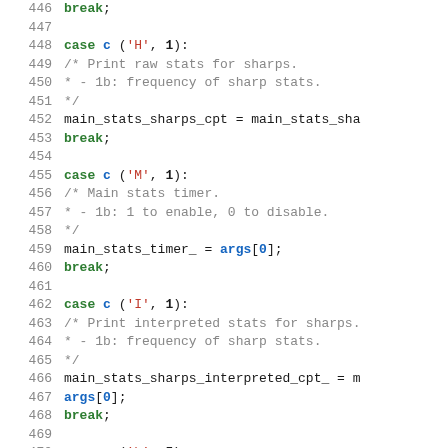Code listing lines 446-472 showing switch-case statements in C++
446: break; 447: (blank) 448: case c ('H', 1): 449: /* Print raw stats for sharps. 450:  *   - 1b: frequency of sharp stats. 451:  */ 452: main_stats_sharps_cpt = main_stats_sha 453: break; 454: (blank) 455: case c ('M', 1): 456: /* Main stats timer. 457:  *   - 1b: 1 to enable, 0 to disable. 458:  */ 459: main_stats_timer_ = args[0]; 460: break; 461: (blank) 462: case c ('I', 1): 463: /* Print interpreted stats for sharps. 464:  *   - 1b: frequency of sharp stats. 465:  */ 466: main_stats_sharps_interpreted_cpt_ = m 467: args[0]; 468: break; 469: (blank) 470: case c ('h', 5): 471: /* Configure sharps threshold. 472:  *   - 1b: sharp id number;